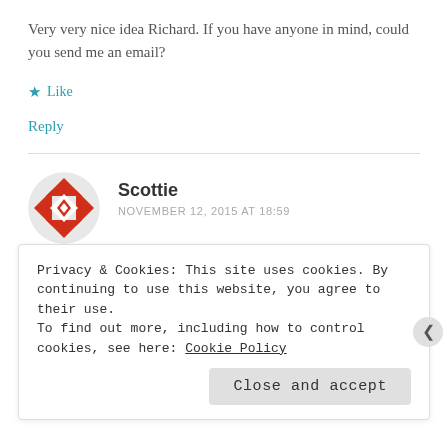Very very nice idea Richard. If you have anyone in mind, could you send me an email?
★ Like
Reply
Scottie
NOVEMBER 12, 2015 AT 18:59
[Figure (illustration): Circular avatar with red and white geometric diamond/cross pattern]
Can I come and collect Daisy's much for my...
Privacy & Cookies: This site uses cookies. By continuing to use this website, you agree to their use.
To find out more, including how to control cookies, see here: Cookie Policy
Close and accept